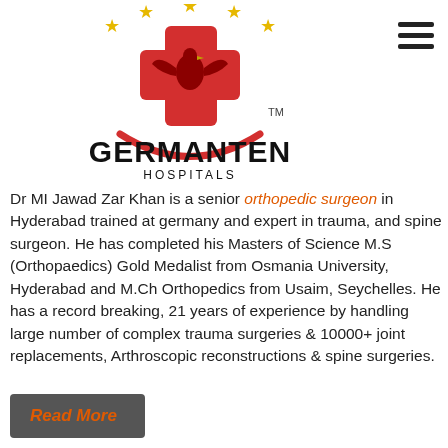[Figure (logo): Germanten Hospitals logo: red cross with eagle emblem, gold stars above, red curved line below, text GERMANTEN HOSPITALS with TM mark]
Dr MI Jawad Zar Khan is a senior orthopedic surgeon in Hyderabad trained at germany and expert in trauma, and spine surgeon. He has completed his Masters of Science M.S (Orthopaedics) Gold Medalist from Osmania University, Hyderabad and M.Ch Orthopedics from Usaim, Seychelles. He has a record breaking, 21 years of experience by handling large number of complex trauma surgeries & 10000+ joint replacements, Arthroscopic reconstructions & spine surgeries.
Read More